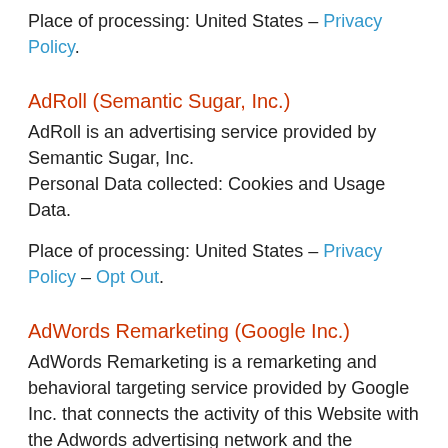Place of processing: United States – Privacy Policy.
AdRoll (Semantic Sugar, Inc.)
AdRoll is an advertising service provided by Semantic Sugar, Inc.
Personal Data collected: Cookies and Usage Data.
Place of processing: United States – Privacy Policy – Opt Out.
AdWords Remarketing (Google Inc.)
AdWords Remarketing is a remarketing and behavioral targeting service provided by Google Inc. that connects the activity of this Website with the Adwords advertising network and the Doubleclick Cookie.